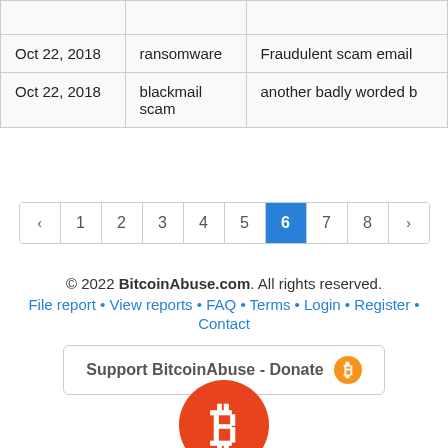| Date | Type | Description |
| --- | --- | --- |
|  |  |  |
| Oct 22, 2018 | ransomware | Fraudulent scam email |
| Oct 22, 2018 | blackmail scam | another badly worded b |
Pagination: ‹ 1 2 3 4 5 6 7 8 ›
© 2022 BitcoinAbuse.com. All rights reserved. File report • View reports • FAQ • Terms • Login • Register • Contact
Support BitcoinAbuse - Donate
[Figure (logo): Bitcoin logo - orange circle with white Bitcoin symbol]